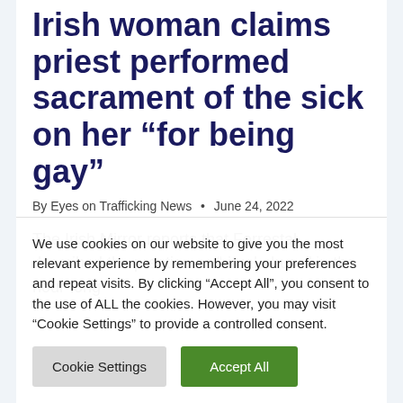Irish woman claims priest performed sacrament of the sick on her “for being gay”
By Eyes on Trafficking News • June 24, 2022
The Irish Mirror reports that Forrestal described the practice as “ritual abuse” in the hour-long
We use cookies on our website to give you the most relevant experience by remembering your preferences and repeat visits. By clicking “Accept All”, you consent to the use of ALL the cookies. However, you may visit “Cookie Settings” to provide a controlled consent.